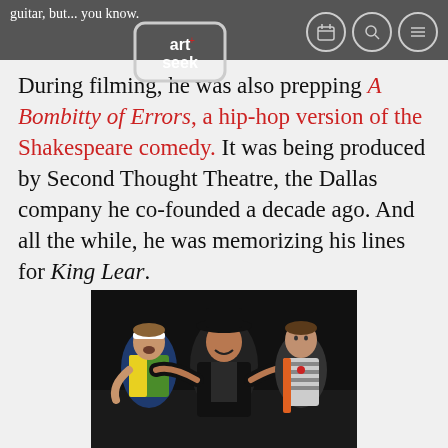guitar, but... you know.
[Figure (logo): Art+Seek logo with calendar, search, and menu icons]
During filming, he was also prepping A Bomb-itty of Errors, a hip-hop version of the Shakespeare comedy. It was being produced by Second Thought Theatre, the Dallas company he co-founded a decade ago. And all the while, he was memorizing his lines for King Lear.
[Figure (photo): Three actors on stage: one wearing a white headband and colorful top, one in a black hat and black jacket with arms spread wide, and one on the right wearing a striped shirt with an orange accent.]